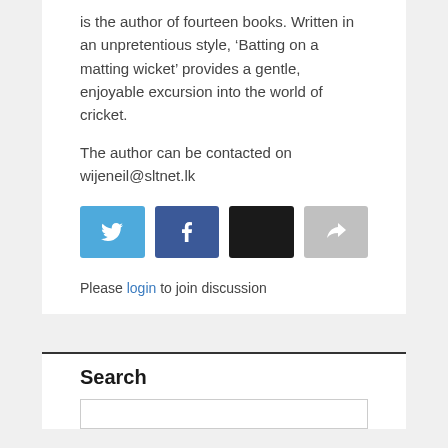is the author of fourteen books. Written in an unpretentious style, ‘Batting on a matting wicket’ provides a gentle, enjoyable excursion into the world of cricket.
The author can be contacted on
wijeneil@sltnet.lk
[Figure (other): Four social share buttons: Twitter (blue), Facebook (dark blue), black button, and a grey share/forward button with arrow icon]
Please login to join discussion
Search